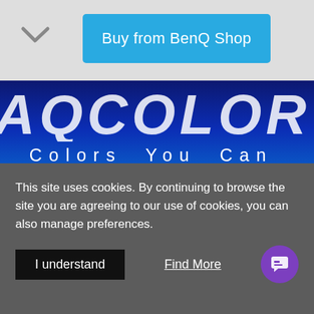[Figure (screenshot): BenQ AQCOLOR website screenshot showing top navigation bar with blue 'Buy from BenQ Shop' button and chevron icon]
[Figure (screenshot): BenQ AQCOLOR hero banner with dark blue to cyan gradient background, large AQCOLOR text, 'Colors You Can Trust' tagline, and three columns: Industry STANDARD, Displaying DETAILS, Out-of-the-Box GUARANTEE]
BenQ AQCOLOR
This site uses cookies. By continuing to browse the site you are agreeing to our use of cookies, you can also manage preferences.
I understand
Find More